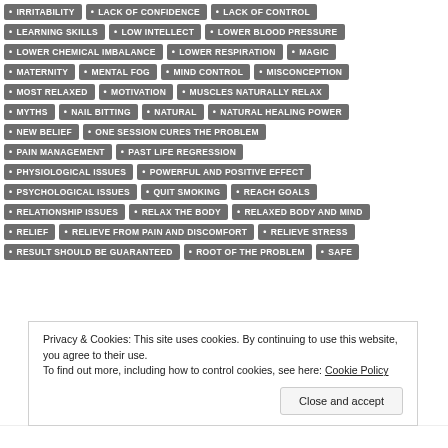IRRITABILITY
LACK OF CONFIDENCE
LACK OF CONTROL
LEARNING SKILLS
LOW INTELLECT
LOWER BLOOD PRESSURE
LOWER CHEMICAL IMBALANCE
LOWER RESPIRATION
MAGIC
MATERNITY
MENTAL FOG
MIND CONTROL
MISCONCEPTION
MOST RELAXED
MOTIVATION
MUSCLES NATURALLY RELAX
MYTHS
NAIL BITTING
NATURAL
NATURAL HEALING POWER
NEW BELIEF
ONE SESSION CURES THE PROBLEM
PAIN MANAGEMENT
PAST LIFE REGRESSION
PHYSIOLOGICAL ISSUES
POWERFUL AND POSITIVE EFFECT
PSYCHOLOGICAL ISSUES
QUIT SMOKING
REACH GOALS
RELATIONSHIP ISSUES
RELAX THE BODY
RELAXED BODY AND MIND
RELIEF
RELIEVE FROM PAIN AND DISCOMFORT
RELIEVE STRESS
RESULT SHOULD BE GUARANTEED
ROOT OF THE PROBLEM
SAFE
Privacy & Cookies: This site uses cookies. By continuing to use this website, you agree to their use. To find out more, including how to control cookies, see here: Cookie Policy